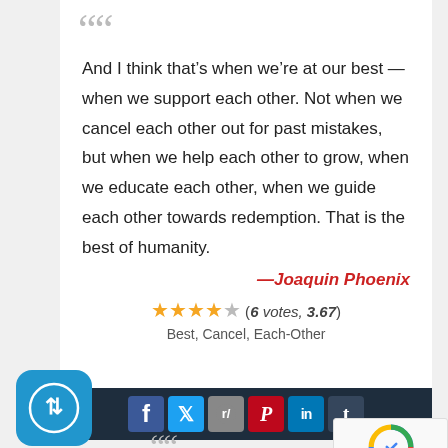““ (decorative open quote)
And I think that’s when we’re at our best — when we support each other. Not when we cancel each other out for past mistakes, but when we help each other to grow, when we educate each other, when we guide each other towards redemption. That is the best of humanity.
—Joaquin Phoenix
★★★★☆ (6 votes, 3.67)
Best, Cancel, Each-Other
[Figure (other): Social media share bar with icons for Facebook, Twitter, Reddit, Pinterest, LinkedIn, Tumblr on dark background]
[Figure (logo): App icon: blue rounded square with double arrow/elevator symbol]
““ (decorative open quote, bottom)
[Figure (other): Google reCAPTCHA widget with Privacy and Terms links]